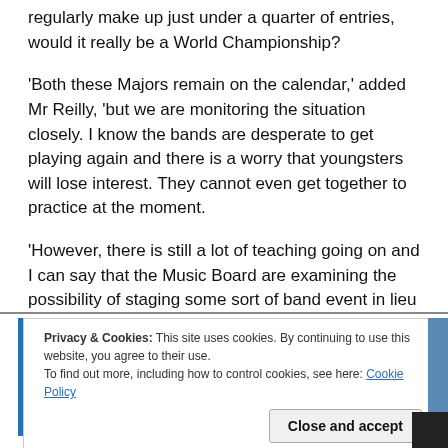regularly make up just under a quarter of entries, would it really be a World Championship?
'Both these Majors remain on the calendar,' added Mr Reilly, 'but we are monitoring the situation closely. I know the bands are desperate to get playing again and there is a worry that youngsters will lose interest. They cannot even get together to practice at the moment.
'However, there is still a lot of teaching going on and I can say that the Music Board are examining the possibility of staging some sort of band event in lieu of competitions and we will make an announcement at the appropriate time.'
Privacy & Cookies: This site uses cookies. By continuing to use this website, you agree to their use.
To find out more, including how to control cookies, see here: Cookie Policy